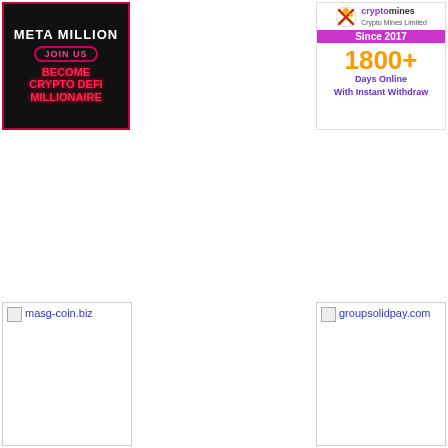[Figure (advertisement): Meta Million ad: black background with red border, text JOIN US, BECOME CRYPTO DEFI MILLIONAIRE in red/pink on dark background]
[Figure (advertisement): Crypto Mines Limited ad: logo with X icon, Since 2017 purple bar, 1800+ Days Online With Instant Withdraw]
[Figure (advertisement): Broken image placeholder for masg-coin.biz]
[Figure (advertisement): Broken image placeholder for groupsolidpay.com]